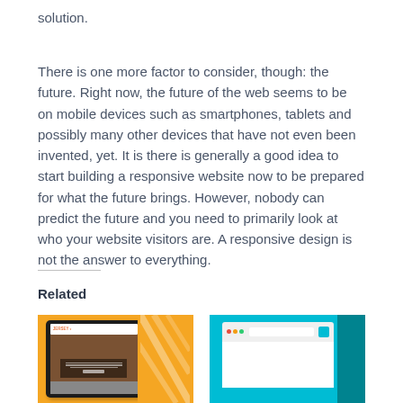solution.
There is one more factor to consider, though: the future. Right now, the future of the web seems to be on mobile devices such as smartphones, tablets and possibly many other devices that have not even been invented, yet. It is there is generally a good idea to start building a responsive website now to be prepared for what the future brings. However, nobody can predict the future and you need to primarily look at who your website visitors are. A responsive design is not the answer to everything.
Related
[Figure (screenshot): Tablet mockup screenshot on orange background showing a website with a dark header and content area]
[Figure (screenshot): Browser window mockup on teal/cyan background showing an empty browser interface]